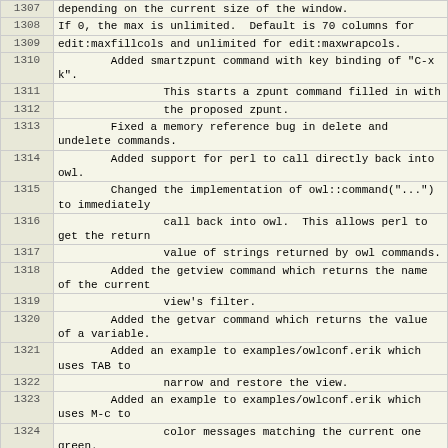| Line | Content |
| --- | --- |
| 1307 | depending on the current size of the window. |
| 1308 | If 0, the max is unlimited.  Default is 70 columns for |
| 1309 | edit:maxfillcols and unlimited for edit:maxwrapcols. |
| 1310 |         Added smartzpunt command with key binding of "C-x k". |
| 1311 |                 This starts a zpunt command filled in with |
| 1312 |                 the proposed zpunt. |
| 1313 |         Fixed a memory reference bug in delete and undelete commands. |
| 1314 |         Added support for perl to call directly back into owl. |
| 1315 |         Changed the implementation of owl::command("...") to immediately |
| 1316 |                 call back into owl.  This allows perl to get the return |
| 1317 |                 value of strings returned by owl commands. |
| 1318 |         Added the getview command which returns the name of the current |
| 1319 |                 view's filter. |
| 1320 |         Added the getvar command which returns the value of a variable. |
| 1321 |         Added an example to examples/owlconf.erik which uses TAB to |
| 1322 |                 narrow and restore the view. |
| 1323 |         Added an example to examples/owlconf.erik which uses M-c to |
| 1324 |                 color messages matching the current one green. |
| 1325 |         Integrated change to fix problem with popup blinking on new zephyrs. |